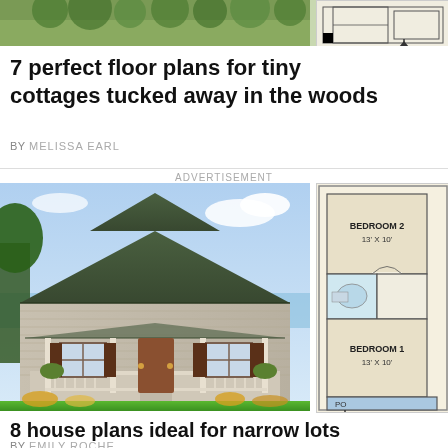[Figure (photo): Top strip showing partial photo of trees/foliage on left and a partial floor plan schematic on right]
7 perfect floor plans for tiny cottages tucked away in the woods
BY MELISSA EARL
ADVERTISEMENT
[Figure (photo): A rendered illustration of a small cottage/ranch-style house with a covered front porch, dark brown shutters, green landscaping, and a gambrel roof. On the right side is a partial floor plan showing BEDROOM 2 (13' X 10'), BEDROOM 1 (13' X 10'), and a partial label 'PO'.]
8 house plans ideal for narrow lots
BY EMILY ROCHE